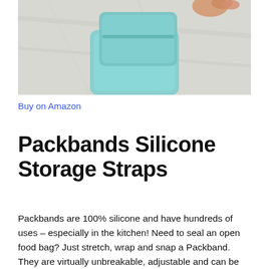[Figure (photo): Photo of a teal/blue silicone storage container held by hand on a white marble surface]
Buy on Amazon
Packbands Silicone Storage Straps
Packbands are 100% silicone and have hundreds of uses – especially in the kitchen! Need to seal an open food bag? Just stretch, wrap and snap a Packband. They are virtually unbreakable, adjustable and can be joined together for a longer band. Reusable Packbands are formulated of food-